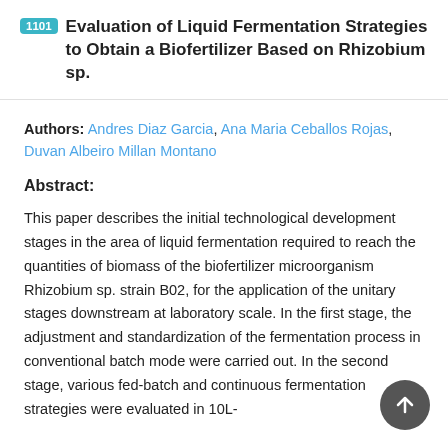1101 Evaluation of Liquid Fermentation Strategies to Obtain a Biofertilizer Based on Rhizobium sp.
Authors: Andres Diaz Garcia, Ana Maria Ceballos Rojas, Duvan Albeiro Millan Montano
Abstract:
This paper describes the initial technological development stages in the area of liquid fermentation required to reach the quantities of biomass of the biofertilizer microorganism Rhizobium sp. strain B02, for the application of the unitary stages downstream at laboratory scale. In the first stage, the adjustment and standardization of the fermentation process in conventional batch mode were carried out. In the second stage, various fed-batch and continuous fermentation strategies were evaluated in 10L-